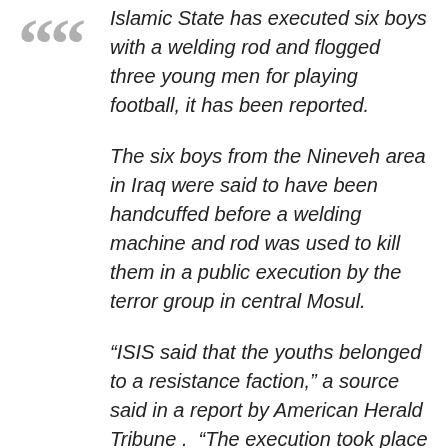Islamic State has executed six boys with a welding rod and flogged three young men for playing football, it has been reported.

The six boys from the Nineveh area in Iraq were said to have been handcuffed before a welding machine and rod was used to kill them in a public execution by the terror group in central Mosul.

“ISIS said that the youths belonged to a resistance faction,” a source said in a report by American Herald Tribune . “The execution took place in Mosul in front of a large gathering. This came in order to create a state of fear and panic